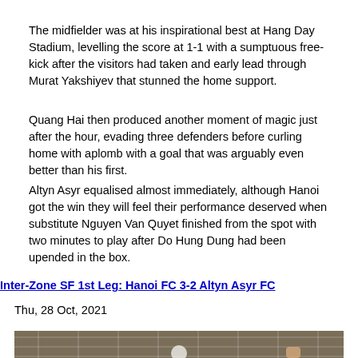The midfielder was at his inspirational best at Hang Day Stadium, levelling the score at 1-1 with a sumptuous free-kick after the visitors had taken and early lead through Murat Yakshiyev that stunned the home support.
Quang Hai then produced another moment of magic just after the hour, evading three defenders before curling home with aplomb with a goal that was arguably even better than his first.
Altyn Asyr equalised almost immediately, although Hanoi got the win they will feel their performance deserved when substitute Nguyen Van Quyet finished from the spot with two minutes to play after Do Hung Dung had been upended in the box.
Inter-Zone SF 1st Leg: Hanoi FC 3-2 Altyn Asyr FC
Thu, 28 Oct, 2021
[Figure (photo): Photo of a football/soccer net with a ball visible, partial view of a player's hand at bottom right, at Hang Day Stadium.]